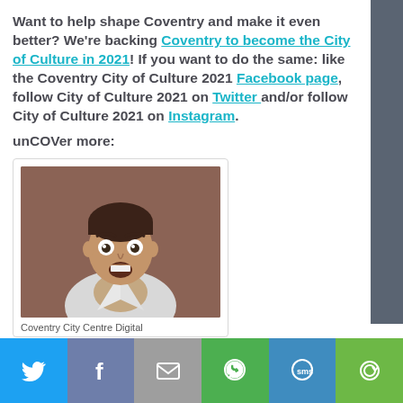Want to help shape Coventry and make it even better? We're backing Coventry to become the City of Culture in 2021! If you want to do the same: like the Coventry City of Culture 2021 Facebook page, follow City of Culture 2021 on Twitter and/or follow City of Culture 2021 on Instagram.
unCOVer more:
[Figure (photo): Photo of a man with an surprised expression, wearing a white suit jacket]
Coventry City Centre Digital